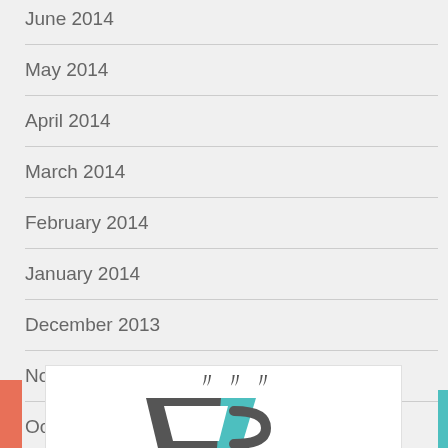June 2014
May 2014
April 2014
March 2014
February 2014
January 2014
December 2013
November 2013
October 2013
Grab My Button
[Figure (logo): A stylized coffee cup logo with steam rising, drawn in dark gray and teal colors, inside a white box with a light border.]